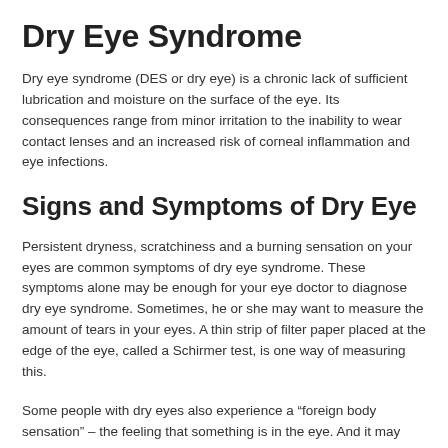Dry Eye Syndrome
Dry eye syndrome (DES or dry eye) is a chronic lack of sufficient lubrication and moisture on the surface of the eye. Its consequences range from minor irritation to the inability to wear contact lenses and an increased risk of corneal inflammation and eye infections.
Signs and Symptoms of Dry Eye
Persistent dryness, scratchiness and a burning sensation on your eyes are common symptoms of dry eye syndrome. These symptoms alone may be enough for your eye doctor to diagnose dry eye syndrome. Sometimes, he or she may want to measure the amount of tears in your eyes. A thin strip of filter paper placed at the edge of the eye, called a Schirmer test, is one way of measuring this.
Some people with dry eyes also experience a “foreign body sensation” – the feeling that something is in the eye. And it may seem odd, but sometimes dry eye syndrome can cause